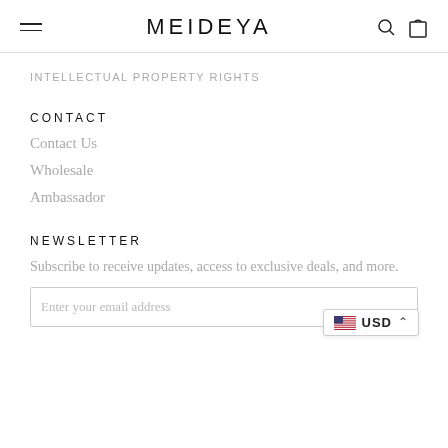MEIDEYA
INTELLECTUAL PROPERTY RIGHTS
CONTACT
Contact Us
Wholesale
Ambassador
NEWSLETTER
Subscribe to receive updates, access to exclusive deals, and more.
Enter your email address
USD